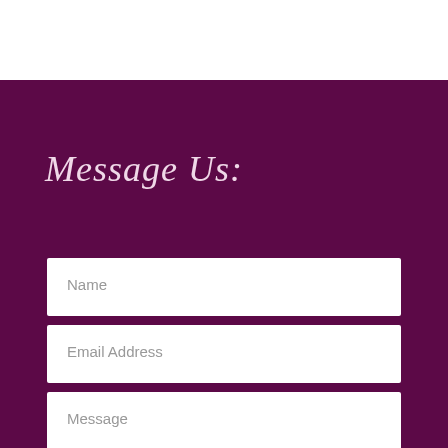Message Us:
Name
Email Address
Message